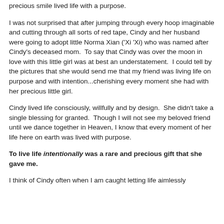precious smile lived life with a purpose.
I was not surprised that after jumping through every hoop imaginable and cutting through all sorts of red tape, Cindy and her husband were going to adopt little Norma Xian ('Xi 'Xi) who was named after Cindy's deceased mom.  To say that Cindy was over the moon in love with this little girl was at best an understatement.  I could tell by the pictures that she would send me that my friend was living life on purpose and with intention...cherishing every moment she had with her precious little girl.
Cindy lived life consciously, willfully and by design.  She didn't take a single blessing for granted.  Though I will not see my beloved friend until we dance together in Heaven, I know that every moment of her life here on earth was lived with purpose.
To live life intentionally was a rare and precious gift that she gave me.
I think of Cindy often when I am caught letting life aimlessly